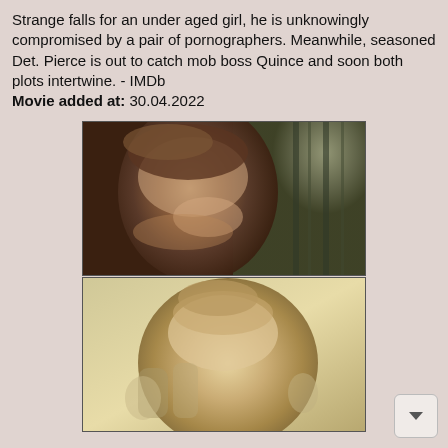Strange falls for an under aged girl, he is unknowingly compromised by a pair of pornographers. Meanwhile, seasoned Det. Pierce is out to catch mob boss Quince and soon both plots intertwine. - IMDb
Movie added at: 30.04.2022
[Figure (photo): Close-up of a young woman with brown hair and bangs, looking at the camera with a slight smile, in a vintage film still.]
[Figure (photo): Close-up of a young blonde woman holding a glass, looking at the camera, in a vintage film still with warm tones.]